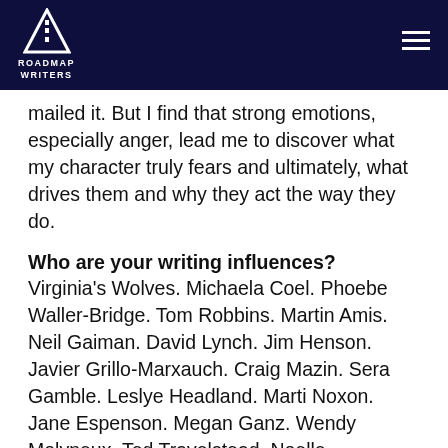ROADMAP WRITERS
mailed it. But I find that strong emotions, especially anger, lead me to discover what my character truly fears and ultimately, what drives them and why they act the way they do.
Who are your writing influences?
Virginia's Wolves. Michaela Coel. Phoebe Waller-Bridge. Tom Robbins. Martin Amis. Neil Gaiman. David Lynch. Jim Henson. Javier Grillo-Marxauch. Craig Mazin. Sera Gamble. Leslye Headland. Marti Noxon. Jane Espenson. Megan Ganz. Wendy Molyneux. Ted Travelstead. Noelle Stevenson. Caryl Churchill. Jeremy O. Harris. Misha Green.
Other than getting signed, what's jazzing you